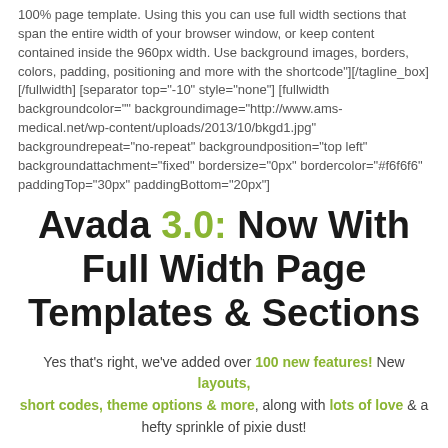100% page template. Using this you can use full width sections that span the entire width of your browser window, or keep content contained inside the 960px width. Use background images, borders, colors, padding, positioning and more with the shortcode"][/tagline_box] [/fullwidth] [separator top="-10" style="none"] [fullwidth backgroundcolor="" backgroundimage="http://www.ams-medical.net/wp-content/uploads/2013/10/bkgd1.jpg" backgroundrepeat="no-repeat" backgroundposition="top left" backgroundattachment="fixed" bordersize="0px" bordercolor="#f6f6f6" paddingTop="30px" paddingBottom="20px"]
Avada 3.0: Now With Full Width Page Templates & Sections
Yes that's right, we've added over 100 new features! New layouts, short codes, theme options & more, along with lots of love & a hefty sprinkle of pixie dust!